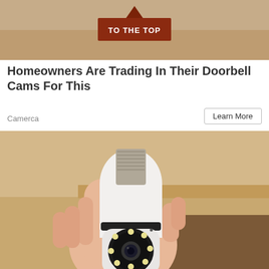[Figure (photo): Top banner image with beige/tan background showing a 'TO THE TOP' button in dark red with an upward arrow above it]
Homeowners Are Trading In Their Doorbell Cams For This
Camerca
Learn More
[Figure (photo): A hand holding a white light bulb security camera with a metal screw base at top, a rotating camera module at the bottom with multiple LED lights surrounding the lens]